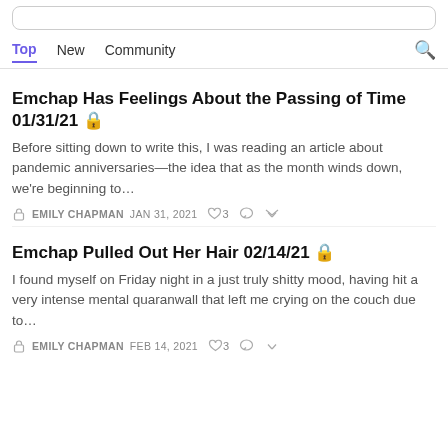[Figure (screenshot): Search bar input at top of page]
Top   New   Community
Emchap Has Feelings About the Passing of Time 01/31/21 🔒
Before sitting down to write this, I was reading an article about pandemic anniversaries—the idea that as the month winds down, we're beginning to…
EMILY CHAPMAN   JAN 31, 2021   ♡ 3
Emchap Pulled Out Her Hair 02/14/21 🔒
I found myself on Friday night in a just truly shitty mood, having hit a very intense mental quaranwall that left me crying on the couch due to…
EMILY CHAPMAN   FEB 14, 2021   ♡ 3